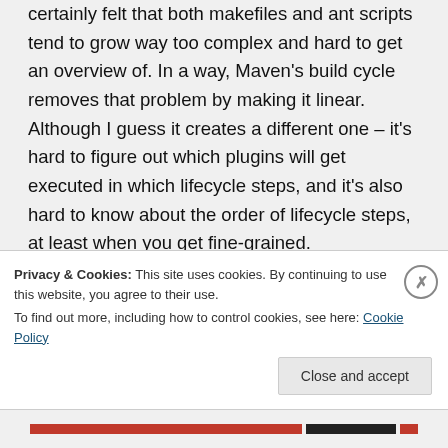certainly felt that both makefiles and ant scripts tend to grow way too complex and hard to get an overview of. In a way, Maven's build cycle removes that problem by making it linear. Although I guess it creates a different one – it's hard to figure out which plugins will get executed in which lifecycle steps, and it's also hard to know about the order of lifecycle steps, at least when you get fine-grained.
My belief was that the default dependency
Privacy & Cookies: This site uses cookies. By continuing to use this website, you agree to their use.
To find out more, including how to control cookies, see here: Cookie Policy